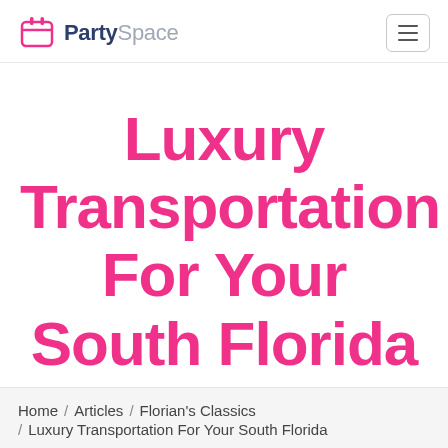PartySpace
Luxury Transportation For Your South Florida Wedding
Home / Articles / Florian's Classics / Luxury Transportation For Your South Florida